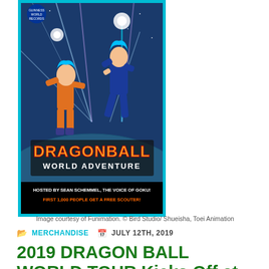[Figure (illustration): Dragon Ball World Adventure event poster featuring Goku and Vegeta in Super Saiyan Blue form, with cyan laser beams background and text 'HOSTED BY SEAN SCHEMMEL, THE VOICE OF GOKU! FIRST 1,000 PEOPLE GET A FREE SCOUTER!']
Image courtesy of Funimation. © Bird Studio/ Shueisha, Toei Animation
MERCHANDISE   JULY 12TH, 2019
2019 DRAGON BALL WORLD TOUR Kicks Off at San Diego Comic-Con
Fans Invited to Be Part of Dragon Ball History with Guinness